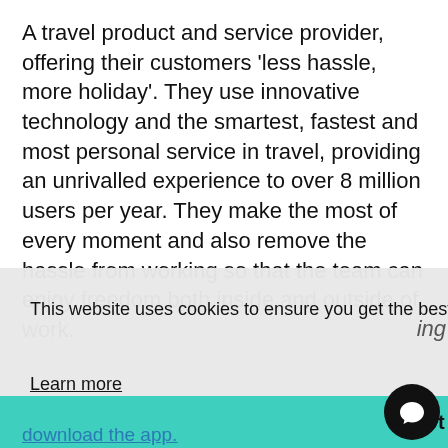A travel product and service provider, offering their customers 'less hassle, more holiday'. They use innovative technology and the smartest, fastest and most personal service in travel, providing an unrivalled experience to over 8 million users per year. They make the most of every moment and also remove the hassle from working so that the team can enjoy freedom both inside and outside of work.
This website uses cookies to ensure you get the best experience on our website.
Learn more
Got it!
download the app.